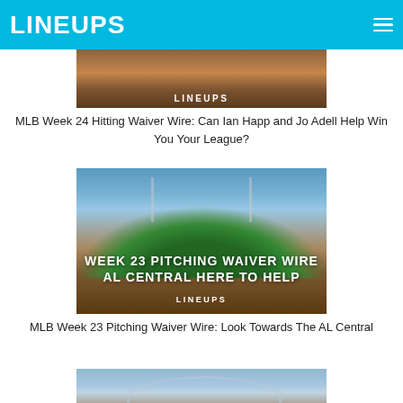LINEUPS
[Figure (photo): Cropped baseball diamond/field image with LINEUPS badge overlay at bottom]
MLB Week 24 Hitting Waiver Wire: Can Ian Happ and Jo Adell Help Win You Your League?
[Figure (photo): Baseball stadium aerial view with text overlay: WEEK 23 PITCHING WAIVER WIRE / AL CENTRAL HERE TO HELP and LINEUPS badge]
MLB Week 23 Pitching Waiver Wire: Look Towards The AL Central
[Figure (photo): Baseball stadium with text overlay: WEEK 23 HITTING WAIVER WIRE / DUAL OPTIONS GALORE (partially visible)]